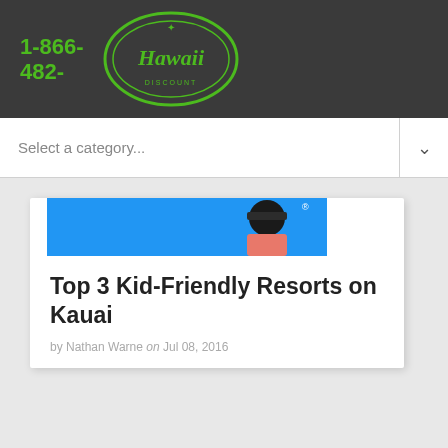1-866-482-
[Figure (logo): Hawaii Discount oval logo in green on dark background]
Select a category...
[Figure (photo): Partial photo showing blue sky and a person wearing a hat]
Top 3 Kid-Friendly Resorts on Kauai
by Nathan Warne on Jul 08, 2016